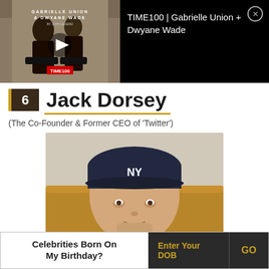[Figure (screenshot): Video thumbnail showing TIME100 | Gabrielle Union + Dwyane Wade with play button overlay and TIME100 logo]
TIME100 | Gabrielle Union + Dwyane Wade
6 Jack Dorsey
(The Co-Founder & Former CEO of 'Twitter')
[Figure (photo): Portrait photo of Jack Dorsey wearing a dark NY Yankees cap, sitting on a tan/mustard colored sofa, slight smile]
Celebrities Born On My Birthday?
Enter Your DOB
GO